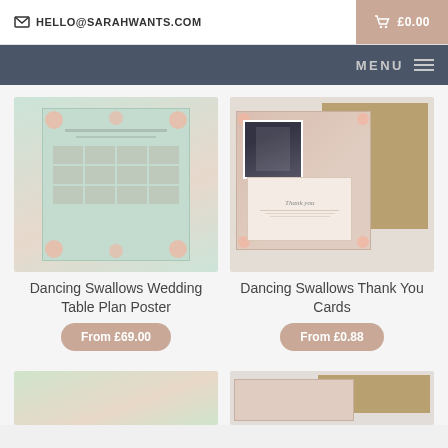✉ HELLO@SARAHWANTS.COM   🛒 £0.00
MENU ☰
[Figure (photo): Dancing Swallows Wedding Table Plan Poster product photo showing a floral-bordered seating chart poster with mint and pink flowers]
Dancing Swallows Wedding Table Plan Poster
From £69.00
[Figure (photo): Dancing Swallows Thank You Cards product photo showing floral thank you cards with a wedding photo and kraft envelope]
Dancing Swallows Thank You Cards
From £0.88
[Figure (photo): Partial view of another Dancing Swallows product at bottom left]
[Figure (photo): Partial view of another Dancing Swallows product at bottom right with kraft envelope]